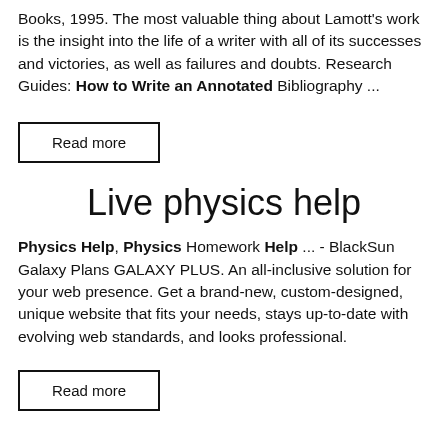Books, 1995. The most valuable thing about Lamott's work is the insight into the life of a writer with all of its successes and victories, as well as failures and doubts. Research Guides: How to Write an Annotated Bibliography ...
Read more
Live physics help
Physics Help, Physics Homework Help ... - BlackSun Galaxy Plans GALAXY PLUS. An all-inclusive solution for your web presence. Get a brand-new, custom-designed, unique website that fits your needs, stays up-to-date with evolving web standards, and looks professional.
Read more